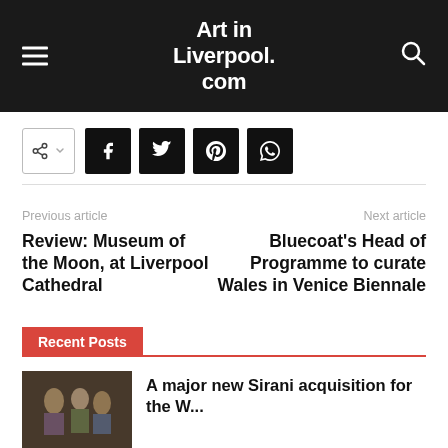Art in Liverpool.com
[Figure (other): Social share buttons: share toggle icon, Facebook, Twitter, Pinterest, WhatsApp]
Previous article
Next article
Review: Museum of the Moon, at Liverpool Cathedral
Bluecoat's Head of Programme to curate Wales in Venice Biennale
Recent Posts
A major new Sirani acquisition for the W...
[Figure (photo): Thumbnail image of a painting showing figures, beside a museum visitor]